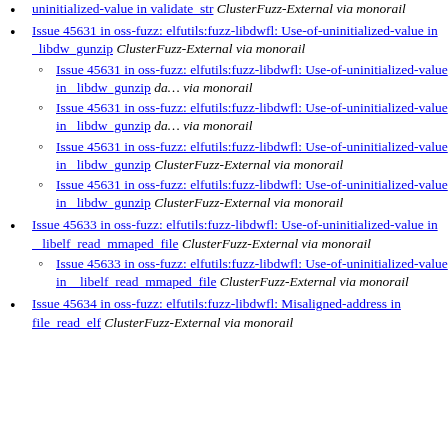uninitialized-value in validate_str ClusterFuzz-External via monorail
Issue 45631 in oss-fuzz: elfutils:fuzz-libdwfl: Use-of-uninitialized-value in __libdw_gunzip ClusterFuzz-External via monorail
Issue 45631 in oss-fuzz: elfutils:fuzz-libdwfl: Use-of-uninitialized-value in __libdw_gunzip da… via monorail
Issue 45631 in oss-fuzz: elfutils:fuzz-libdwfl: Use-of-uninitialized-value in __libdw_gunzip da… via monorail
Issue 45631 in oss-fuzz: elfutils:fuzz-libdwfl: Use-of-uninitialized-value in __libdw_gunzip ClusterFuzz-External via monorail
Issue 45631 in oss-fuzz: elfutils:fuzz-libdwfl: Use-of-uninitialized-value in __libdw_gunzip ClusterFuzz-External via monorail
Issue 45633 in oss-fuzz: elfutils:fuzz-libdwfl: Use-of-uninitialized-value in __libelf_read_mmaped_file ClusterFuzz-External via monorail
Issue 45633 in oss-fuzz: elfutils:fuzz-libdwfl: Use-of-uninitialized-value in __libelf_read_mmaped_file ClusterFuzz-External via monorail
Issue 45634 in oss-fuzz: elfutils:fuzz-libdwfl: Misaligned-address in file_read_elf ClusterFuzz-External via monorail